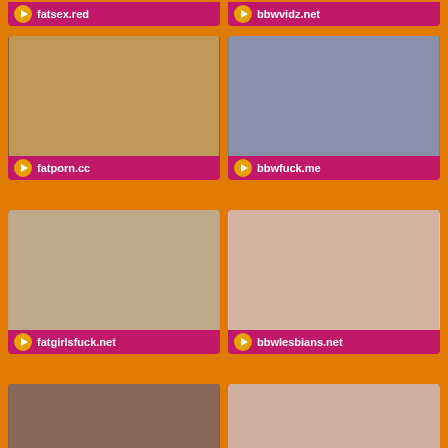fatsex.red
bbwvidz.net
[Figure (photo): Adult content thumbnail]
fatporn.cc
[Figure (photo): Adult content thumbnail]
bbwfuck.me
[Figure (photo): Adult content thumbnail]
fatgirlsfuck.net
[Figure (photo): Adult content thumbnail]
bbwlesbians.net
[Figure (photo): Adult content thumbnail]
[Figure (photo): Adult content thumbnail]